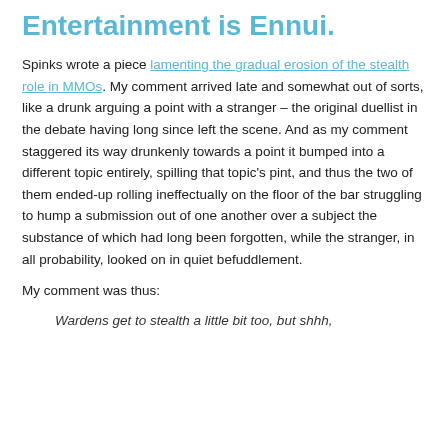Entertainment is Ennui.
Spinks wrote a piece lamenting the gradual erosion of the stealth role in MMOs. My comment arrived late and somewhat out of sorts, like a drunk arguing a point with a stranger – the original duellist in the debate having long since left the scene. And as my comment staggered its way drunkenly towards a point it bumped into a different topic entirely, spilling that topic's pint, and thus the two of them ended-up rolling ineffectually on the floor of the bar struggling to hump a submission out of one another over a subject the substance of which had long been forgotten, while the stranger, in all probability, looked on in quiet befuddlement.
My comment was thus:
Wardens get to stealth a little bit too, but shhh,